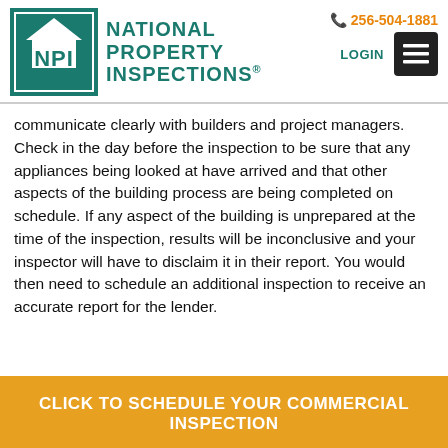[Figure (logo): National Property Inspections (NPI) logo with teal house icon and NPI text, beside the company name in teal uppercase letters]
256-504-1881
LOGIN
communicate clearly with builders and project managers. Check in the day before the inspection to be sure that any appliances being looked at have arrived and that other aspects of the building process are being completed on schedule. If any aspect of the building is unprepared at the time of the inspection, results will be inconclusive and your inspector will have to disclaim it in their report. You would then need to schedule an additional inspection to receive an accurate report for the lender.
CLICK TO SCHEDULE YOUR COMMERCIAL INSPECTION